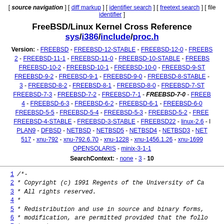[ source navigation ] [ diff markup ] [ identifier search ] [ freetext search ] [ fi... identifier ]
FreeBSD/Linux Kernel Cross Reference sys/i386/include/proc.h
Version: - FREEBSD - FREEBSD-12-STABLE - FREEBSD-12-0 - FREEBSD-... - FREEBSD-11-1 - FREEBSD-11-0 - FREEBSD-10-STABLE - ... FREEBSD-10-2 - FREEBSD-10-1 - FREEBSD-10-0 - FREEBSD-9-ST... FREEBSD-9-2 - FREEBSD-9-1 - FREEBSD-9-0 - FREEBSD-8-STABLE - ... 3 - FREEBSD-8-2 - FREEBSD-8-1 - FREEBSD-8-0 - FREEBSD-7-ST... FREEBSD-7-3 - FREEBSD-7-2 - FREEBSD-7-1 - FREEBSD-7-0 - FREEB... 4 - FREEBSD-6-3 - FREEBSD-6-2 - FREEBSD-6-1 - FREEBSD-6-0 FREEBSD-5-5 - FREEBSD-5-4 - FREEBSD-5-3 - FREEBSD-5-2 - FREE... FREEBSD-4-STABLE - FREEBSD-3-STABLE - FREEBSD22 - linux-2.6 - l... PLAN9 - DFBSD - NETBSD - NETBSD5 - NETBSD4 - NETBSD3 - NET... 517 - xnu-792 - xnu-792.6.70 - xnu-1228 - xnu-1456.1.26 - xnu-1699... OPENSOLARIS - minix-3-1-1
SearchContext: - none - 3 - 10
1 /*-
2  * Copyright (c) 1991 Regents of the University of Ca...
3  * All rights reserved.
4  *
5  * Redistribution and use in source and binary forms,...
6  * modification, are permitted provided that the follo...
7  * are met:
8  * 1. Redistributions of source code must retain the a...
9  *    notice, this list of conditions and the follo...